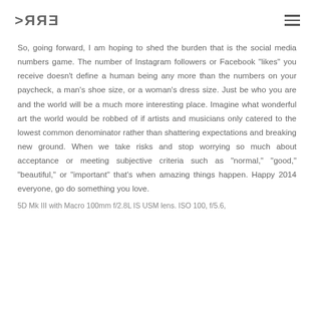KERR
So, going forward, I am hoping to shed the burden that is the social media numbers game. The number of Instagram followers or Facebook "likes" you receive doesn't define a human being any more than the numbers on your paycheck, a man's shoe size, or a woman's dress size. Just be who you are and the world will be a much more interesting place. Imagine what wonderful art the world would be robbed of if artists and musicians only catered to the lowest common denominator rather than shattering expectations and breaking new ground. When we take risks and stop worrying so much about acceptance or meeting subjective criteria such as "normal," "good," "beautiful," or "important" that's when amazing things happen. Happy 2014 everyone, go do something you love.
5D Mk III with Macro 100mm f/2.8L IS USM lens. ISO 100, f/5.6,